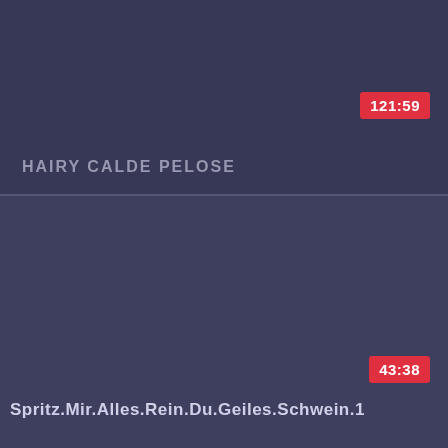121:59
HAIRY CALDE PELOSE
43:38
Spritz.Mir.Alles.Rein.Du.Geiles.Schwein.1